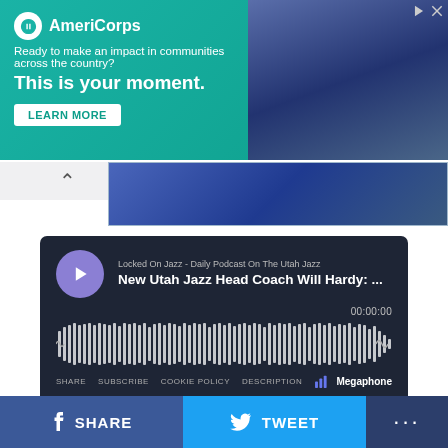[Figure (screenshot): AmeriCorps advertisement banner with teal background. Shows AmeriCorps logo, tagline 'Ready to make an impact in communities across the country?', headline 'This is your moment.', LEARN MORE button, and a photo of a young woman on the right.]
[Figure (screenshot): Podcast player embed for 'Locked On Jazz - Daily Podcast On The Utah Jazz' showing episode 'New Utah Jazz Head Coach Will Hardy: ...' with dark background, purple play button, waveform visualization, timestamp 00:00:00, and footer links: SHARE, SUBSCRIBE, COOKIE POLICY, DESCRIPTION, Megaphone logo.]
Reports have the Utah Jazz hiring Will Hardy as their new head coach. The 34 year old assistant to the Boston Celtics and formerly of the San Antoinio Spurs is on the
[Figure (screenshot): Social sharing bar at bottom with Facebook SHARE button (dark blue), Twitter TWEET button (light blue), and a more options button (dark navy) with '...']